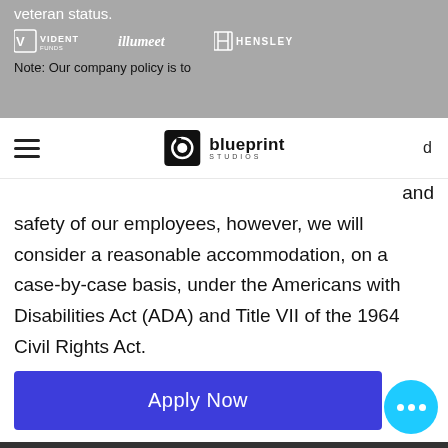veteran status.
[Figure (logo): Three company logos: Vident Funds, illumeet, Hensley]
Note: Our company policy is to
blueprint STUDIOS
and safety of our employees, however, we will consider a reasonable accommodation, on a case-by-case basis, under the Americans with Disabilities Act (ADA) and Title VII of the 1964 Civil Rights Act.
No third party calls.
Apply Now